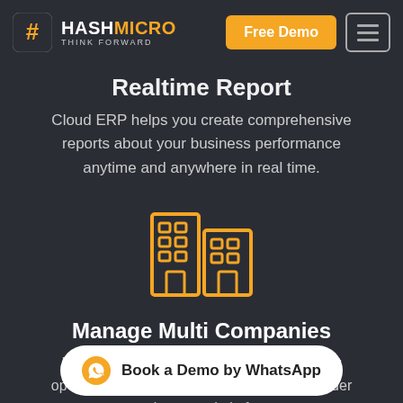HashMicro Think Forward — Free Demo | Menu
Realtime Report
Cloud ERP helps you create comprehensive reports about your business performance anytime and anywhere in real time.
[Figure (illustration): Orange icon of two office buildings side by side]
Manage Multi Companies
Manage multi-companies that have different operational and organizational structures under one integrated platform.
Book a Demo by WhatsApp